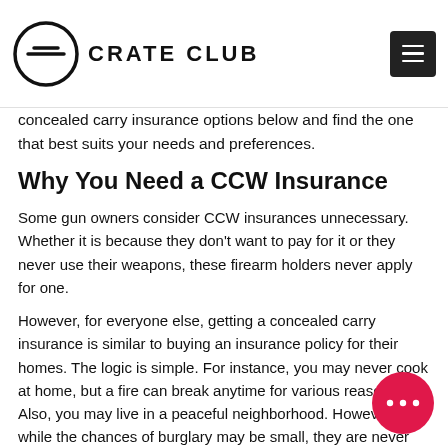CRATE CLUB
concealed carry insurance options below and find the one that best suits your needs and preferences.
Why You Need a CCW Insurance
Some gun owners consider CCW insurances unnecessary. Whether it is because they don't want to pay for it or they never use their weapons, these firearm holders never apply for one.
However, for everyone else, getting a concealed carry insurance is similar to buying an insurance policy for their homes. The logic is simple. For instance, you may never cook at home, but a fire can break anytime for various reasons. Also, you may live in a peaceful neighborhood. However, while the chances of burglary may be small, they are never zero.
The same reasoning applies to having CCW insurance. You may